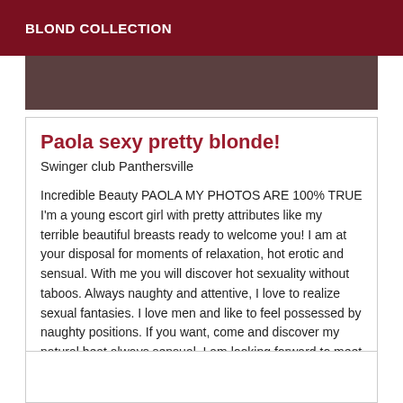BLOND COLLECTION
[Figure (photo): Partial photo strip showing a person, dark background]
Paola sexy pretty blonde!
Swinger club Panthersville
Incredible Beauty PAOLA MY PHOTOS ARE 100% TRUE I'm a young escort girl with pretty attributes like my terrible beautiful breasts ready to welcome you! I am at your disposal for moments of relaxation, hot erotic and sensual. With me you will discover hot sexuality without taboos. Always naughty and attentive, I love to realize sexual fantasies. I love men and like to feel possessed by naughty positions. If you want, come and discover my natural heat always sensual. I am looking forward to meet you!